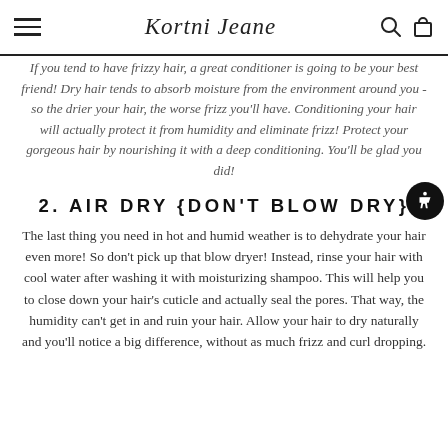Kortni Jeane [logo with hamburger menu, search, and cart icons]
If you tend to have frizzy hair, a great conditioner is going to be your best friend! Dry hair tends to absorb moisture from the environment around you - so the drier your hair, the worse frizz you'll have. Conditioning your hair will actually protect it from humidity and eliminate frizz! Protect your gorgeous hair by nourishing it with a deep conditioning. You'll be glad you did!
2. AIR DRY {DON'T BLOW DRY}
The last thing you need in hot and humid weather is to dehydrate your hair even more! So don't pick up that blow dryer! Instead, rinse your hair with cool water after washing it with moisturizing shampoo. This will help you to close down your hair's cuticle and actually seal the pores. That way, the humidity can't get in and ruin your hair. Allow your hair to dry naturally and you'll notice a big difference, without as much frizz and curl dropping.